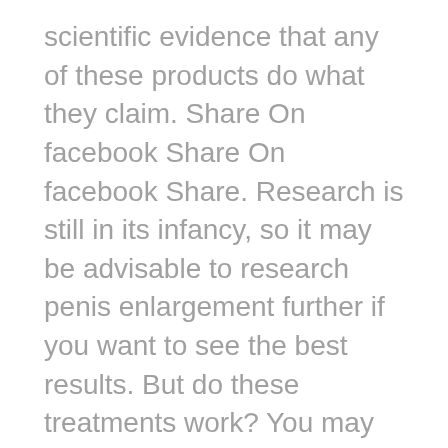scientific evidence that any of these products do what they claim. Share On facebook Share On facebook Share. Research is still in its infancy, so it may be advisable to research penis enlargement further if you want to see the best results. But do these treatments work? You may also notice changes in appearance or performance over time. A penis pump is a cylinder-shaped, air-filled chamber that you attach to your pelvic area. Share On whatsapp Share On whatsapp. At some point.